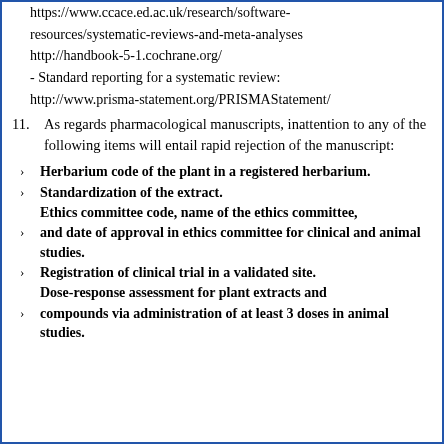https://www.ccace.ed.ac.uk/research/software-resources/systematic-reviews-and-meta-analyses
http://handbook-5-1.cochrane.org/
- Standard reporting for a systematic review: http://www.prisma-statement.org/PRISMAStatement/
11. As regards pharmacological manuscripts, inattention to any of the following items will entail rapid rejection of the manuscript:
Herbarium code of the plant in a registered herbarium.
Standardization of the extract.
Ethics committee code, name of the ethics committee, and date of approval in ethics committee for clinical and animal studies.
Registration of clinical trial in a validated site.
Dose-response assessment for plant extracts and compounds via administration of at least 3 doses in animal studies.